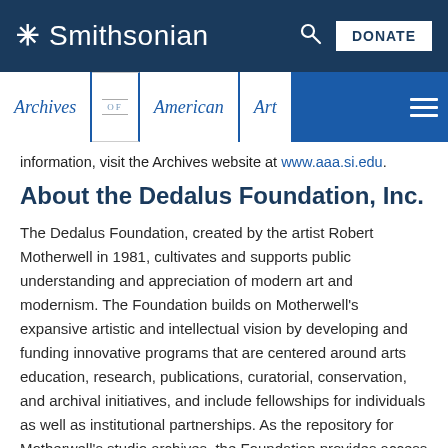Smithsonian — Archives of American Art
information, visit the Archives website at www.aaa.si.edu.
About the Dedalus Foundation, Inc.
The Dedalus Foundation, created by the artist Robert Motherwell in 1981, cultivates and supports public understanding and appreciation of modern art and modernism. The Foundation builds on Motherwell's expansive artistic and intellectual vision by developing and funding innovative programs that are centered around arts education, research, publications, curatorial, conservation, and archival initiatives, and include fellowships for individuals as well as institutional partnerships. As the repository for Motherwell's studio archives, the Foundation provides access to original documents and photographs related to Motherwell's life and artistic practices, as well as